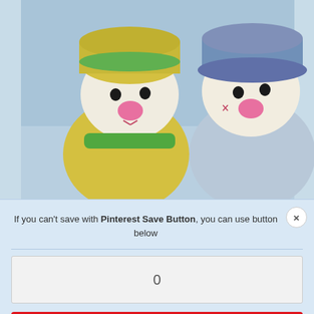[Figure (photo): Two knitted toy rabbits/bunnies with hats - one in yellow/green hat and one in blue hat, photographed close-up against a light blue background]
If you can't save with Pinterest Save Button, you can use button below
0
Save
[Figure (photo): Composite photo showing knitting steps with text overlay 'FREE PATTERN' in a hexagon shape, plus detail shots of knitting a pink nose button on white yarn]